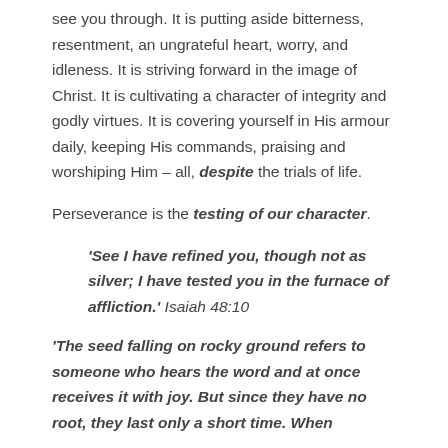see you through. It is putting aside bitterness, resentment, an ungrateful heart, worry, and idleness. It is striving forward in the image of Christ. It is cultivating a character of integrity and godly virtues. It is covering yourself in His armour daily, keeping His commands, praising and worshiping Him – all, despite the trials of life.
Perseverance is the testing of our character.
'See I have refined you, though not as silver; I have tested you in the furnace of affliction.' Isaiah 48:10
'The seed falling on rocky ground refers to someone who hears the word and at once receives it with joy. But since they have no root, they last only a short time. When